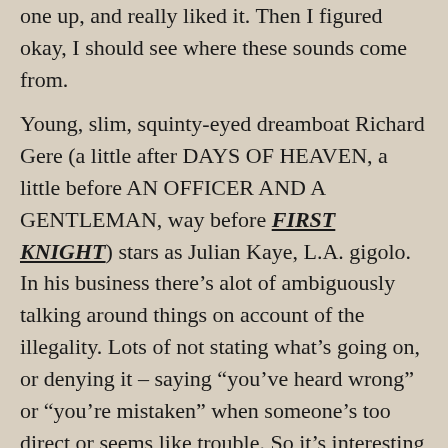one up, and really liked it. Then I figured okay, I should see where these sounds come from.
Young, slim, squinty-eyed dreamboat Richard Gere (a little after DAYS OF HEAVEN, a little before AN OFFICER AND A GENTLEMAN, way before FIRST KNIGHT) stars as Julian Kaye, L.A. gigolo. In his business there’s alot of ambiguously talking around things on account of the illegality. Lots of not stating what’s going on, or denying it – saying “you’ve heard wrong” or “you’re mistaken” when someone’s too direct or seems like trouble. So it’s interesting that he ends up suspected of a murder he didn’t do. We’re not sure at first if they really did hear wrong, really are mistaken, or if he’s just doing his usual shtick. (read